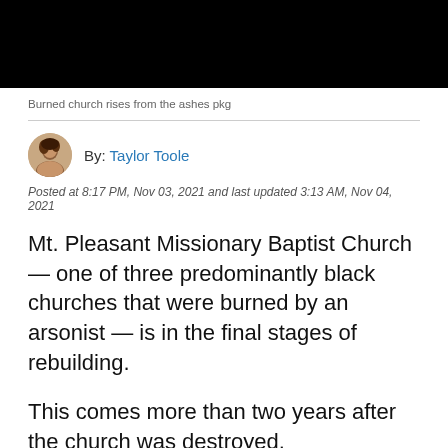[Figure (photo): Black rectangle representing a video thumbnail of burned church footage]
Burned church rises from the ashes pkg
By: Taylor Toole
Posted at 8:17 PM, Nov 03, 2021 and last updated 3:13 AM, Nov 04, 2021
Mt. Pleasant Missionary Baptist Church — one of three predominantly black churches that were burned by an arsonist — is in the final stages of rebuilding.
This comes more than two years after the church was destroyed.
KATC spoke with members of the contracting team